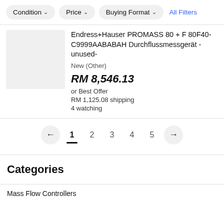Condition | Price | Buying Format | All Filters
Endress+Hauser PROMASS 80 + F 80F40-C9999AABABAH Durchflussmessgerät -unused-
New (Other)
RM 8,546.13
or Best Offer
RM 1,125.08 shipping
4 watching
← 1 2 3 4 5 →
Categories
Mass Flow Controllers